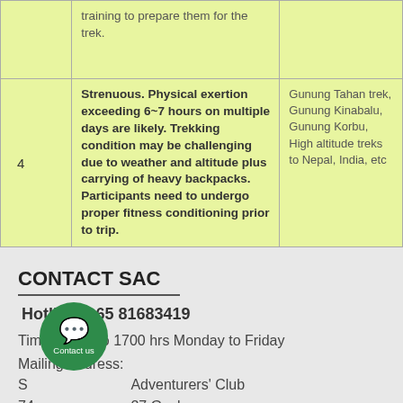|  | Description | Examples |
| --- | --- | --- |
|  | training to prepare them for the trek. |  |
| 4 | Strenuous. Physical exertion exceeding 6~7 hours on multiple days are likely. Trekking condition may be challenging due to weather and altitude plus carrying of heavy backpacks. Participants need to undergo proper fitness conditioning prior to trip. | Gunung Tahan trek, Gunung Kinabalu, Gunung Korbu, High altitude treks to Nepal, India, etc |
CONTACT SAC
Hotline: +65 81683419
Time : 0900 to 1700 hrs Monday to Friday
Mailing Address:
Singapore Adventurers' Club
745 Lorong 27 Geylang,
Singapore 388193.